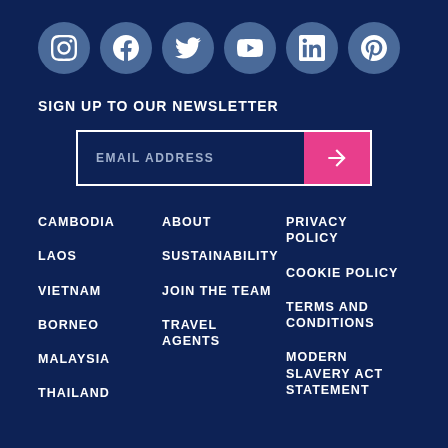[Figure (infographic): Row of 6 social media icon circles: Instagram, Facebook, Twitter, YouTube, LinkedIn, Pinterest — all on muted blue circular backgrounds]
SIGN UP TO OUR NEWSLETTER
EMAIL ADDRESS [input field with pink submit arrow button]
CAMBODIA
LAOS
VIETNAM
BORNEO
MALAYSIA
THAILAND
ABOUT
SUSTAINABILITY
JOIN THE TEAM
TRAVEL AGENTS
PRIVACY POLICY
COOKIE POLICY
TERMS AND CONDITIONS
MODERN SLAVERY ACT STATEMENT